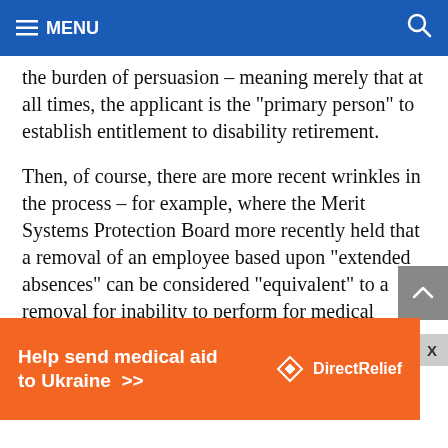MENU
the burden of persuasion – meaning merely that at all times, the applicant is the "primary person" to establish entitlement to disability retirement.
Then, of course, there are more recent wrinkles in the process – for example, where the Merit Systems Protection Board more recently held that a removal of an employee based upon "extended absences" can be considered "equivalent" to a removal for inability to perform for medical reasons where it is accompanied by specifications showing that the decision to remove was based
[Figure (infographic): Orange advertisement banner: 'Help send medical aid to Ukraine >>' with Direct Relief logo]